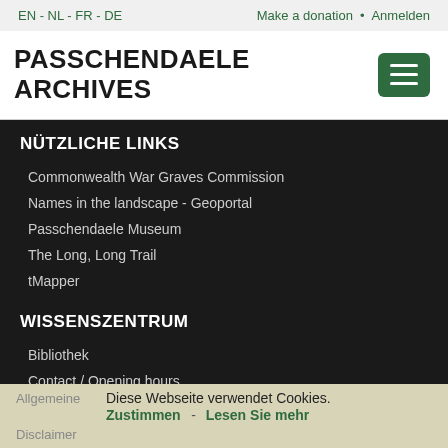EN - NL - FR - DE    Make a donation  •  Anmelden
PASSCHENDAELE ARCHIVES
NÜTZLICHE LINKS
Commonwealth War Graves Commission
Names in the landscape - Geoportal
Passchendaele Museum
The Long, Long Trail
tMapper
WISSENSZENTRUM
Bibliothek
Contact / Opening hours
© PASSCHENDAELE ARCHIVES 2022
Diese Webseite verwendet Cookies.
Zustimmen  -  Lesen Sie mehr